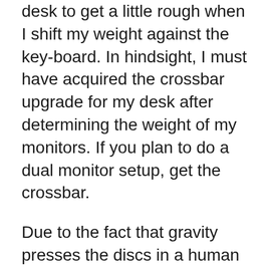desk to get a little rough when I shift my weight against the key-board. In hindsight, I must have acquired the crossbar upgrade for my desk after determining the weight of my monitors. If you plan to do a dual monitor setup, get the crossbar.
Due to the fact that gravity presses the discs in a human spinal column, I require to elevate the desk greater in the morning and also reduced it at night.
An anti-fatigue floor covering is definitely essential for long duration standing. I bought an Octagonal mat from SmartCells, using rubber “cells” that are envisioned listed below.